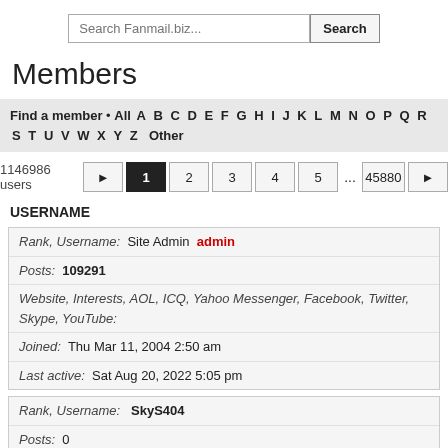Search Fanmail.biz...
Members
Find a member • All A B C D E F G H I J K L M N O P Q R S T U V W X Y Z Other
1146986 users  1 2 3 4 5 ... 45880
USERNAME
| Rank, Username: Site Admin admin | Posts: 109291 | Website, Interests, AOL, ICQ, Yahoo Messenger, Facebook, Twitter, Skype, YouTube: | Joined: Thu Mar 11, 2004 2:50 am | Last active: Sat Aug 20, 2022 5:05 pm |
| Rank, Username: SkyS404 | Posts: 0 | Website, Interests, AOL, ICQ, Yahoo Messenger, Facebook, Twitter, Skype, YouTube: | Joined: Fri Mar 12, 2004 4:26 pm | Last active: Thu Jan 24, 2019 2:40 pm |